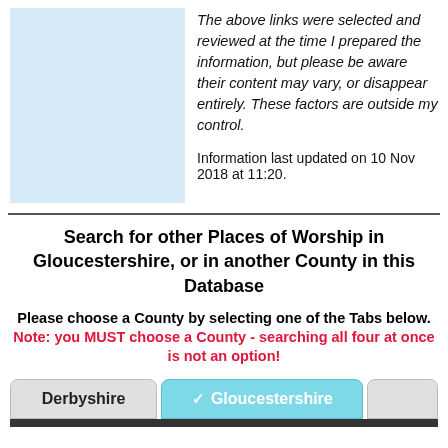[Figure (other): Light blue rectangle placeholder image]
The above links were selected and reviewed at the time I prepared the information, but please be aware their content may vary, or disappear entirely. These factors are outside my control.
Information last updated on 10 Nov 2018 at 11:20.
Search for other Places of Worship in Gloucestershire, or in another County in this Database
Please choose a County by selecting one of the Tabs below. Note: you MUST choose a County - searching all four at once is not an option!